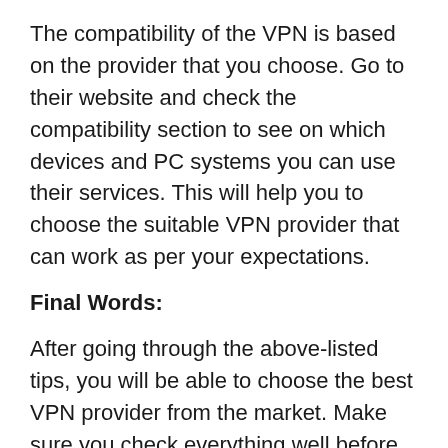The compatibility of the VPN is based on the provider that you choose. Go to their website and check the compatibility section to see on which devices and PC systems you can use their services. This will help you to choose the suitable VPN provider that can work as per your expectations.
Final Words:
After going through the above-listed tips, you will be able to choose the best VPN provider from the market. Make sure you check everything well before you pay for the selected VPN and its plan. Explore all the information provided on their website, check out the reviews and feedback from the real users first. Go for the free trial version before you purchase their plan.